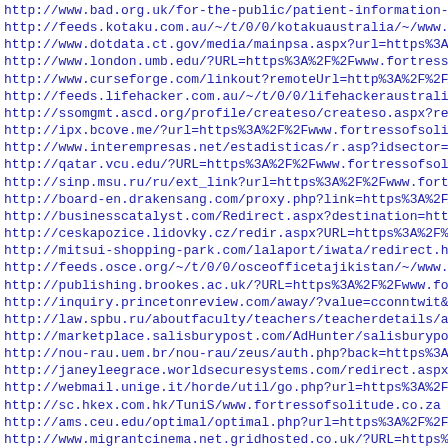http://www.bad.org.uk/for-the-public/patient-information-le
http://feeds.kotaku.com.au/~/t/0/0/kotakuaustralia/~/www.fo
http://www.dotdata.ct.gov/media/mainpsa.aspx?url=https%3A%2
http://www.london.umb.edu/?URL=https%3A%2F%2Fwww.fortressof
http://www.curseforge.com/linkout?remoteUrl=http%3A%2F%2Fww
http://feeds.lifehacker.com.au/~/t/0/0/lifehackeraustralia/
http://ssomgmt.ascd.org/profile/createso/createso.aspx?re
http://ipx.bcove.me/?url=https%3A%2F%2Fwww.fortressofsoli tu
http://www.interempresas.net/estadisticas/r.asp?idsector=12
http://qatar.vcu.edu/?URL=https%3A%2F%2Fwww.fortressofsoli t
http://sinp.msu.ru/ru/ext_link?url=https%3A%2F%2Fwww.fortre
http://board-en.drakensang.com/proxy.php?link=https%3A%2F%2
http://businesscatalyst.com/Redirect.aspx?destination=https
http://ceskapozice.lidovky.cz/redir.aspx?URL=https%3A%2F%2F
http://mitsui-shopping-park.com/lalaport/iwata/redirect.htm
http://feeds.osce.org/~/t/0/0/osceofficetajikistan/~/www.fo
http://publishing.brookes.ac.uk/?URL=https%3A%2F%2Fwww.fort
http://inquiry.princetonreview.com/away/?value=cconntwit&ca
http://law.spbu.ru/aboutfaculty/teachers/teacherdetails/a7f
http://marketplace.salisburypost.com/AdHunter/salisburypost
http://nou-rau.uem.br/nou-rau/zeus/auth.php?back=https%3A%2
http://janeyleegrace.worldsecuresystems.com/redirect.aspx?d
http://webmail.unige.it/horde/util/go.php?url=https%3A%2F%2
http://sc.hkex.com.hk/TuniS/www.fortressofsolitude.co.za
http://ams.ceu.edu/optimal/optimal.php?url=https%3A%2F%2Fww
http://www.migrantcinema.net.gridhosted.co.uk/?URL=https%3A
http://www.wittstock.chemie.uni-oldenburg.de/agef/link_exte
http://www.aaronsw.com/2002/display.cgi?t=%3Ca+href%3Dhttps
http://www.earth-policy.org/?URL=https%3A%2F%2Fwww.fortress
http://inginformatica.uniroma2.it/?URL=https%3A%2F%2Fwww.fo